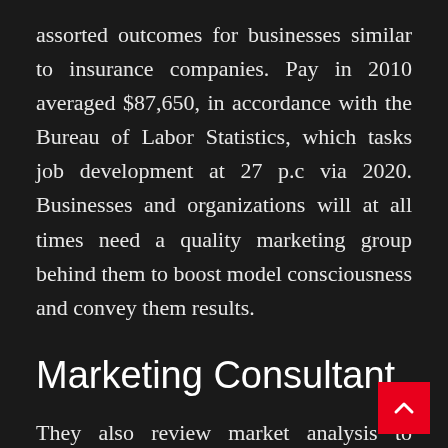assorted outcomes for businesses similar to insurance companies. Pay in 2010 averaged $87,650, in accordance with the Bureau of Labor Statistics, which tasks job development at 27 p.c via 2020. Businesses and organizations will at all times need a quality marketing group behind them to boost model consciousness and convey them results.
Marketing Consultant
They also review market analysis to anticipate competitive and business developments and translate consumer attitudes into new branding instructions. As the traces between design and know-how continue to blur, demand for UX designers is high, and they command a midpoint beginning wage of $[sixty six 350. These creative professionals determine the